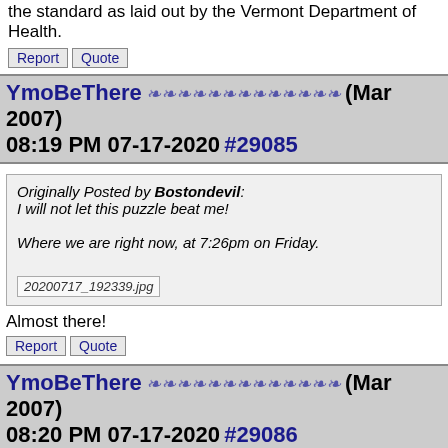the standard as laid out by the Vermont Department of Health.
Report   Quote
YmoBeThere ❧❧❧❧❧❧❧❧❧❧❧❧❧ (Mar 2007) 08:19 PM 07-17-2020 #29085
Originally Posted by Bostondevil:
I will not let this puzzle beat me!

Where we are right now, at 7:26pm on Friday.
20200717_192339.jpg
Almost there!
Report   Quote
YmoBeThere ❧❧❧❧❧❧❧❧❧❧❧❧❧ (Mar 2007) 08:20 PM 07-17-2020 #29086
Originally Posted by YmoBeThere:
I also see the ACC Network In The Clear. The Speed Channel If RHBle...